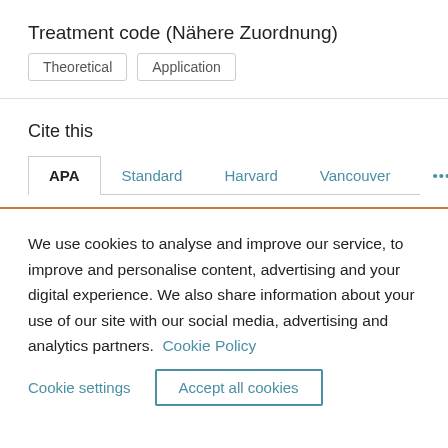Treatment code (Nähere Zuordnung)
Theoretical
Application
Cite this
APA | Standard | Harvard | Vancouver | ...
We use cookies to analyse and improve our service, to improve and personalise content, advertising and your digital experience. We also share information about your use of our site with our social media, advertising and analytics partners.  Cookie Policy
Cookie settings | Accept all cookies